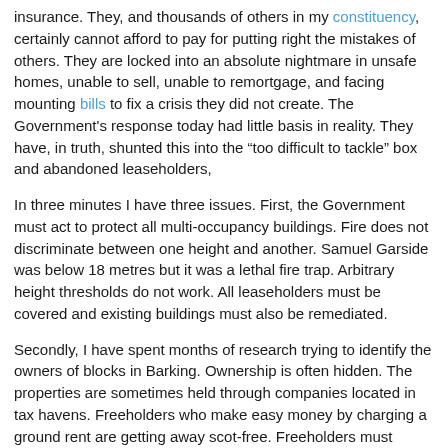insurance. They, and thousands of others in my constituency, certainly cannot afford to pay for putting right the mistakes of others. They are locked into an absolute nightmare in unsafe homes, unable to sell, unable to remortgage, and facing mounting bills to fix a crisis they did not create. The Government's response today had little basis in reality. They have, in truth, shunted this into the “too difficult to tackle” box and abandoned leaseholders,
In three minutes I have three issues. First, the Government must act to protect all multi-occupancy buildings. Fire does not discriminate between one height and another. Samuel Garside was below 18 metres but it was a lethal fire trap. Arbitrary height thresholds do not work. All leaseholders must be covered and existing buildings must also be remediated.
Secondly, I have spent months of research trying to identify the owners of blocks in Barking. Ownership is often hidden. The properties are sometimes held through companies located in tax havens. Freeholders who make easy money by charging a ground rent are getting away scot-free. Freeholders must contribute towards the massive remediation costs, alongside developers, contractors, suppliers and regulators.
Thirdly, the Government must solve the spiralling cost of building insurance. Some are struggling to find any insurance cover at all.